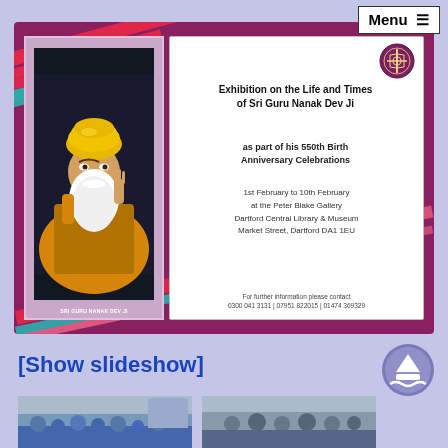[Figure (screenshot): Website screenshot showing a Menu button in top right, a purple banner with an exhibition poster for Sri Guru Nanak Dev Ji's 550th Birth Anniversary, a [Show slideshow] link, a scroll-up button, and two thumbnail photos at the bottom.]
Exhibition on the Life and Times of Sri Guru Nanak Dev Ji as part of his 550th Birth Anniversary Celebrations
1st February to 10th February at the Peter Blake Gallery Dartford Central Library & Museum Market Street, Dartford DA1 1EU
For further information please contact 0300 041 3131 | 07951 822015 | 01474 369329
[Show slideshow]